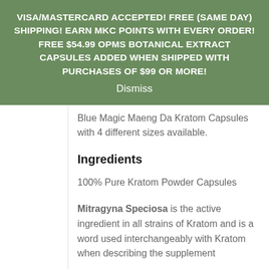VISA/MASTERCARD ACCEPTED! FREE (SAME DAY) SHIPPING! EARN MKC POINTS WITH EVERY ORDER! FREE $54.99 OPMS BOTANICAL EXTRACT CAPSULES ADDED WHEN SHIPPED WITH PURCHASES OF $99 OR MORE!
Dismiss
Blue Magic Maeng Da Kratom Capsules with 4 different sizes available.
Ingredients
100% Pure Kratom Powder Capsules
Mitragyna Speciosa is the active ingredient in all strains of Kratom and is a word used interchangeably with Kratom when describing the supplement